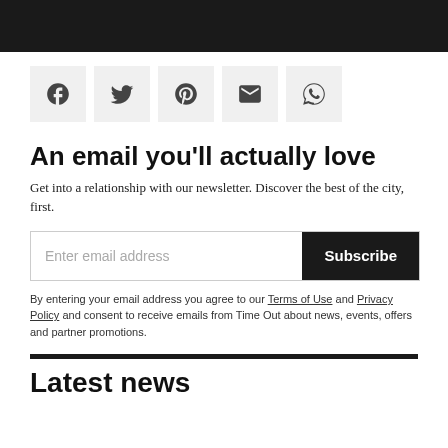[Figure (other): Social sharing icons: Facebook, Twitter, Pinterest, Email, WhatsApp in light grey square buttons]
An email you'll actually love
Get into a relationship with our newsletter. Discover the best of the city, first.
Enter email address [input field] Subscribe [button]
By entering your email address you agree to our Terms of Use and Privacy Policy and consent to receive emails from Time Out about news, events, offers and partner promotions.
Latest news